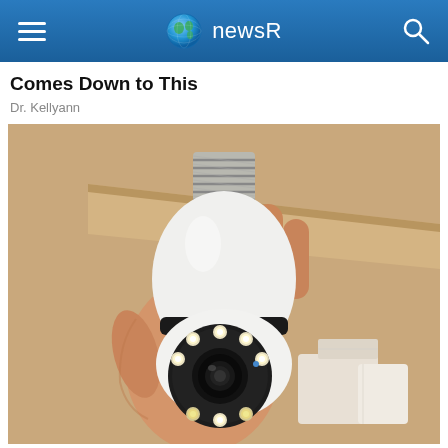newsR
Comes Down to This
Dr. Kellyann
[Figure (photo): A hand holding a white light-bulb shaped security camera with a screw base (E27 socket) at the top and a rotating camera head featuring a circular lens surrounded by LED lights at the bottom, held against a blurred indoor background.]